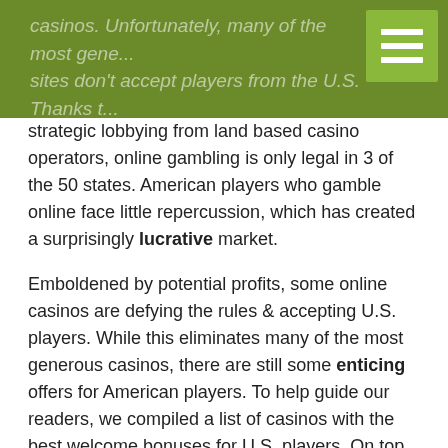casinos. Unfortunately, many of the most generous sites don't accept players from the U.S. Thanks to strategic lobbying from land based casino operators, online gambling is only legal in 3 of the 50 states.
strategic lobbying from land based casino operators, online gambling is only legal in 3 of the 50 states. American players who gamble online face little repercussion, which has created a surprisingly lucrative market.
Emboldened by potential profits, some online casinos are defying the rules & accepting U.S. players. While this eliminates many of the most generous casinos, there are still some enticing offers for American players. To help guide our readers, we compiled a list of casinos with the best welcome bonuses for U.S. players. On top of offering epic deals, these casinos feature some of the best games available. It’s never too late to win big, so start gambling frugally with these generous sites!
Top Welcome Bonuses for U.S.